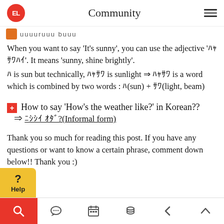Community
ung uuuuruuu buuu
When you want to say 'It's sunny', you can use the adjective '햇살이'. It means 'sunny, shine brightly'.
해 is sun but technically, 햇살 is sunlight ⇒ 햇살 is a word which is combined by two words : 해(sun) + 살(light, beam)
How to say 'How's the weather like?' in Korean??
⇒ 날씨 어때?(Informal form)
Thank you so much for reading this post. If you have any questions or want to know a certain phrase, comment down below!! Thank you :)